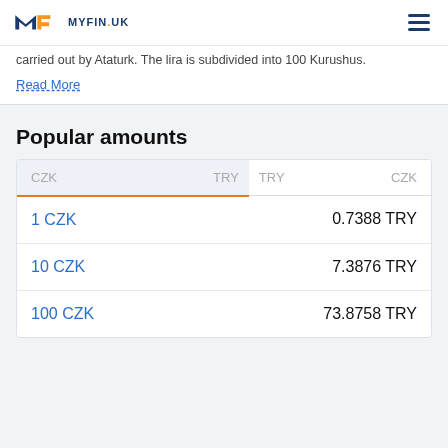MYFIN.UK
carried out by Ataturk. The lira is subdivided into 100 Kurushus.
Read More
Popular amounts
| CZK | TRY | TRY | CZK |
| --- | --- | --- | --- |
| 1 CZK |  | 0.7388 TRY |  |
| 10 CZK |  | 7.3876 TRY |  |
| 100 CZK |  | 73.8758 TRY |  |